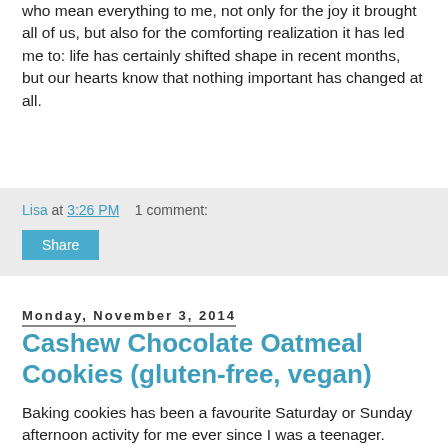who mean everything to me, not only for the joy it brought all of us, but also for the comforting realization it has led me to: life has certainly shifted shape in recent months, but our hearts know that nothing important has changed at all.
Lisa at 3:26 PM    1 comment:
Share
Monday, November 3, 2014
Cashew Chocolate Oatmeal Cookies (gluten-free, vegan)
Baking cookies has been a favourite Saturday or Sunday afternoon activity for me ever since I was a teenager.  There has always been something very comforting in the measuring and mixing of ingredients and a warm, sweet smelling kitchen on a chilly afternoon, and sharing fresh homemade treats with others makes me happy.  My mixing bowls were calling me one recent weekend afternoon, and I decided to combine elements of several of my best loved